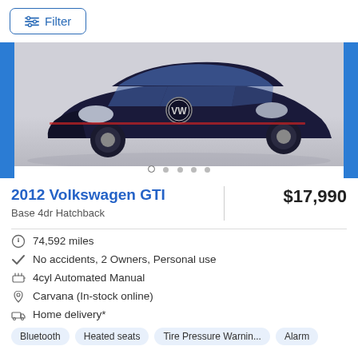Filter
[Figure (photo): Dark navy blue 2012 Volkswagen GTI hatchback shown from front-left angle on grey background, with blue side bars and dot navigation indicators]
2012 Volkswagen GTI
$17,990
Base 4dr Hatchback
74,592 miles
No accidents, 2 Owners, Personal use
4cyl Automated Manual
Carvana (In-stock online)
Home delivery*
Bluetooth | Heated seats | Tire Pressure Warnin... | Alarm